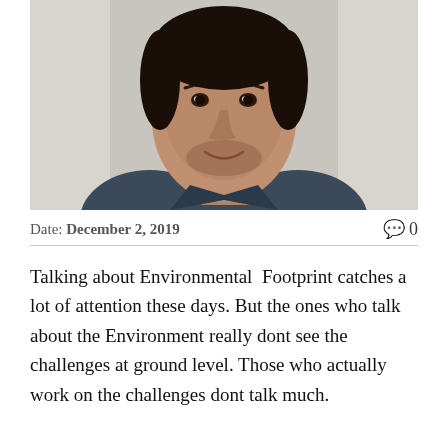[Figure (photo): Headshot of a young man with short dark hair and stubble, wearing a dark blue collared shirt, against a light background]
Date: December 2, 2019  🗨 0
Talking about Environmental  Footprint catches a lot of attention these days. But the ones who talk about the Environment really dont see the challenges at ground level. Those who actually work on the challenges dont talk much.